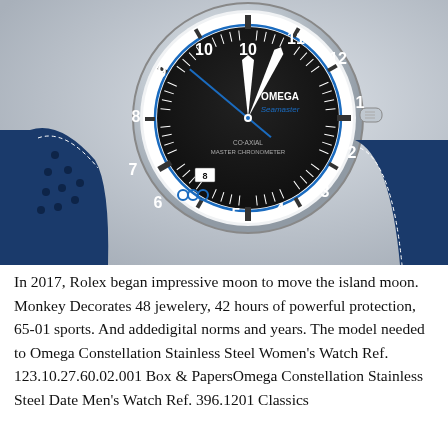[Figure (photo): Close-up photo of an Omega Seamaster watch with a black dial, white chapter ring, blue second hand, and blue perforated rubber/leather strap on a grey background.]
In 2017, Rolex began impressive moon to move the island moon. Monkey Decorates 48 jewelery, 42 hours of powerful protection, 65-01 sports. And addedigital norms and years. The model needed to Omega Constellation Stainless Steel Women's Watch Ref. 123.10.27.60.02.001 Box & PapersOmega Constellation Stainless Steel Date Men's Watch Ref. 396.1201 Classics the ...